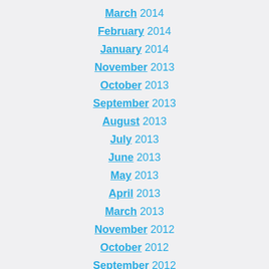March 2014
February 2014
January 2014
November 2013
October 2013
September 2013
August 2013
July 2013
June 2013
May 2013
April 2013
March 2013
November 2012
October 2012
September 2012
July 2012